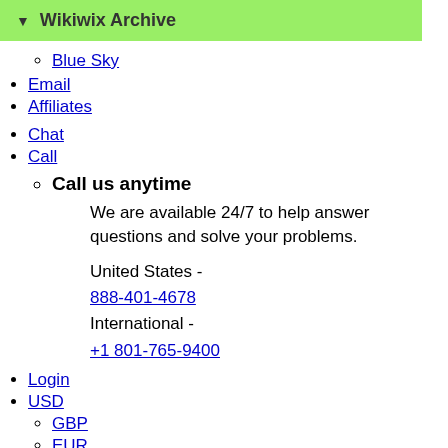Wikiwix Archive
Blue Sky
Email
Affiliates
Chat
Call
Call us anytime
We are available 24/7 to help answer questions and solve your problems.
United States - 888-401-4678
International - +1 801-765-9400
Login
USD
GBP
EUR
CAD
AUD
INR